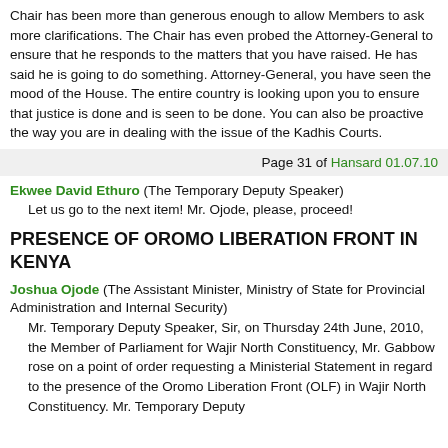Chair has been more than generous enough to allow Members to ask more clarifications. The Chair has even probed the Attorney-General to ensure that he responds to the matters that you have raised. He has said he is going to do something. Attorney-General, you have seen the mood of the House. The entire country is looking upon you to ensure that justice is done and is seen to be done. You can also be proactive the way you are in dealing with the issue of the Kadhis Courts.
Page 31 of Hansard 01.07.10
Ekwee David Ethuro (The Temporary Deputy Speaker)
Let us go to the next item! Mr. Ojode, please, proceed!
PRESENCE OF OROMO LIBERATION FRONT IN KENYA
Joshua Ojode (The Assistant Minister, Ministry of State for Provincial Administration and Internal Security)
Mr. Temporary Deputy Speaker, Sir, on Thursday 24th June, 2010, the Member of Parliament for Wajir North Constituency, Mr. Gabbow rose on a point of order requesting a Ministerial Statement in regard to the presence of the Oromo Liberation Front (OLF) in Wajir North Constituency. Mr. Temporary Deputy